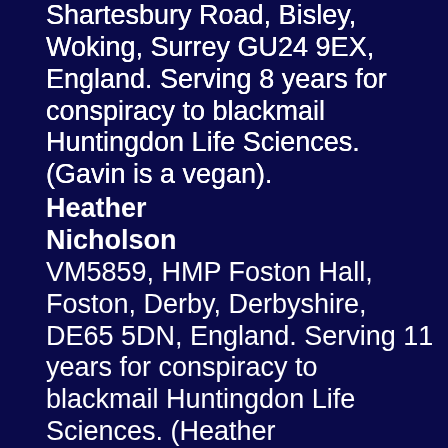Shartesbury Road, Bisley, Woking, Surrey GU24 9EX, England. Serving 8 years for conspiracy to blackmail Huntingdon Life Sciences. (Gavin is a vegan).
Heather Nicholson VM5859, HMP Foston Hall, Foston, Derby, Derbyshire, DE65 5DN, England. Serving 11 years for conspiracy to blackmail Huntingdon Life Sciences. (Heather